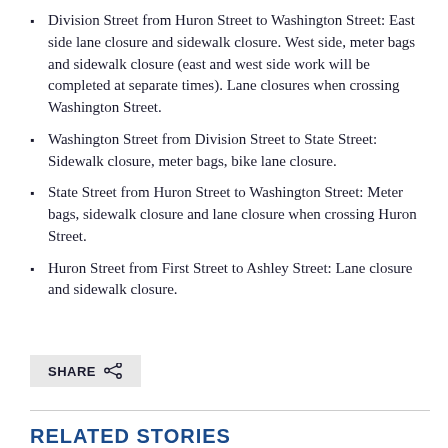Division Street from Huron Street to Washington Street: East side lane closure and sidewalk closure. West side, meter bags and sidewalk closure (east and west side work will be completed at separate times). Lane closures when crossing Washington Street.
Washington Street from Division Street to State Street: Sidewalk closure, meter bags, bike lane closure.
State Street from Huron Street to Washington Street: Meter bags, sidewalk closure and lane closure when crossing Huron Street.
Huron Street from First Street to Ashley Street: Lane closure and sidewalk closure.
RELATED STORIES